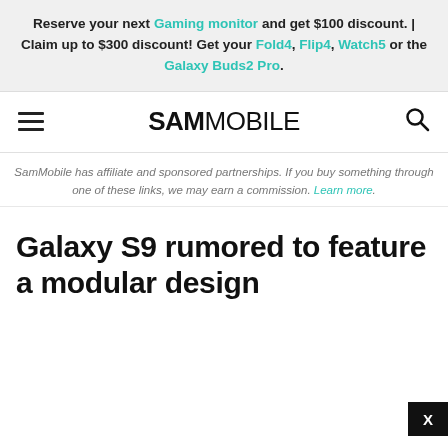Reserve your next Gaming monitor and get $100 discount. | Claim up to $300 discount! Get your Fold4, Flip4, Watch5 or the Galaxy Buds2 Pro.
SAMMOBILE
SamMobile has affiliate and sponsored partnerships. If you buy something through one of these links, we may earn a commission. Learn more.
Galaxy S9 rumored to feature a modular design